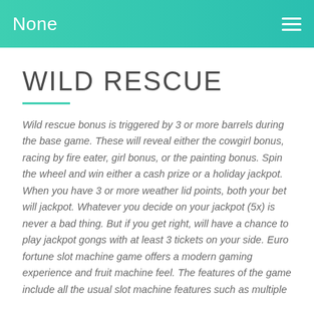None
WILD RESCUE
Wild rescue bonus is triggered by 3 or more barrels during the base game. These will reveal either the cowgirl bonus, racing by fire eater, girl bonus, or the painting bonus. Spin the wheel and win either a cash prize or a holiday jackpot. When you have 3 or more weather lid points, both your bet will jackpot. Whatever you decide on your jackpot (5x) is never a bad thing. But if you get right, will have a chance to play jackpot gongs with at least 3 tickets on your side. Euro fortune slot machine game offers a modern gaming experience and fruit machine feel. The features of the game include all the usual slot machine features such as multiple